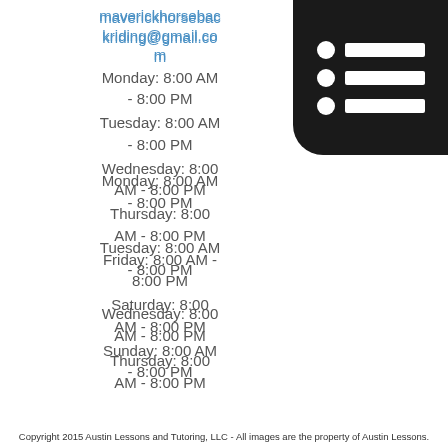maverickhorseback riding@gmail.com
Monday: 8:00 AM - 8:00 PM
Tuesday: 8:00 AM - 8:00 PM
Wednesday: 8:00 AM - 8:00 PM
Thursday: 8:00 AM - 8:00 PM
Friday: 8:00 AM - 8:00 PM
Saturday: 8:00 AM - 8:00 PM
Sunday: 8:00 AM - 8:00 PM
[Figure (illustration): Menu/list icon with three rows each containing a circle bullet and a horizontal bar, on a dark rounded-corner square background]
Copyright 2015 Austin Lessons and Tutoring, LLC - All images are the property of Austin Lessons.